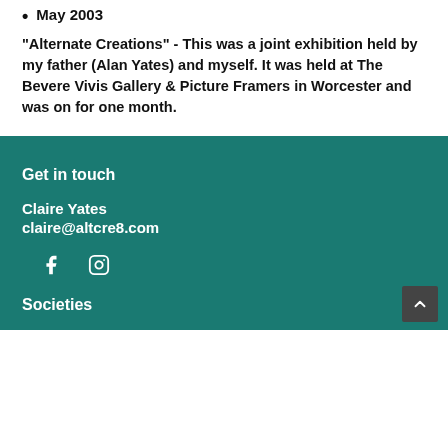May 2003
"Alternate Creations" - This was a joint exhibition held by my father (Alan Yates) and myself. It was held at The Bevere Vivis Gallery & Picture Framers in Worcester and was on for one month.
Get in touch
Claire Yates
claire@altcre8.com
Societies